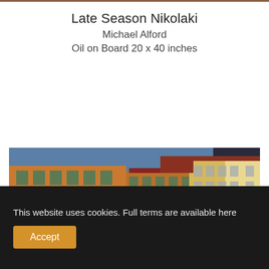Late Season Nikolaki
Michael Alford
Oil on Board 20 x 40 inches
[Figure (photo): Oil painting of European street buildings with colorful facades — red, orange/yellow, and cream buildings with green shuttered windows, red rooftops, under a blue sky. Wide panoramic view of a row of multi-storey buildings.]
This website uses cookies. Full terms are available here
Accept